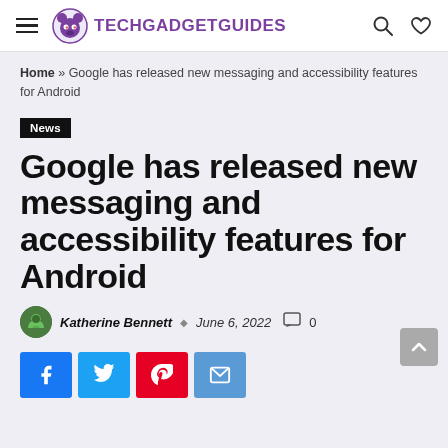TECHGADGETGUIDES
Home » Google has released new messaging and accessibility features for Android
News
Google has released new messaging and accessibility features for Android
Katherine Bennett · June 6, 2022 · 0
[Figure (other): Social share buttons: Facebook, Twitter, Pinterest, Email]